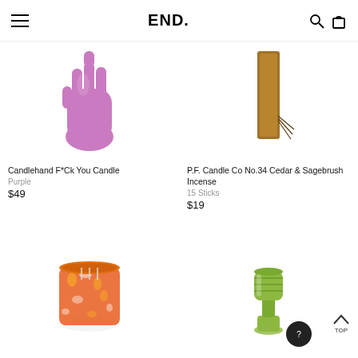END.
[Figure (photo): Purple hand-shaped candle giving middle finger gesture]
Candlehand F*Ck You Candle
Purple
$49
[Figure (photo): Brown rectangular incense stick package with incense sticks fanned out]
P.F. Candle Co No.34 Cedar & Sagebrush Incense
15 Sticks
$19
[Figure (photo): Orange and white speckled glass candle jar with white wicks]
[Figure (photo): Green ribbed glass candle holder]